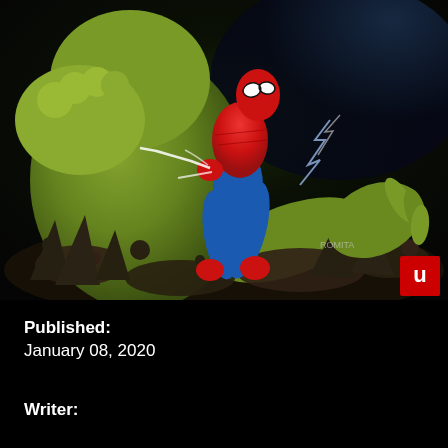[Figure (illustration): Comic book cover art showing Spider-Man in red and blue costume swinging or fighting, with a large green muscular villain figure (appears to be Sandman or similar character) in the foreground. Rocky debris scattered on the ground. A red logo with letter U appears in the bottom right corner of the image.]
Published:
January 08, 2020
Writer: